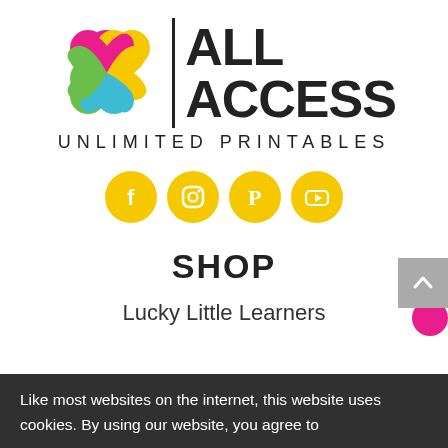[Figure (logo): All Access Unlimited Printables logo with colorful clover icon and bold text]
[Figure (infographic): Four yellow circular social media icons: Facebook, Instagram, Pinterest, YouTube]
SHOP
Lucky Little Learners
Like most websites on the internet, this website uses cookies. By using our website, you agree to